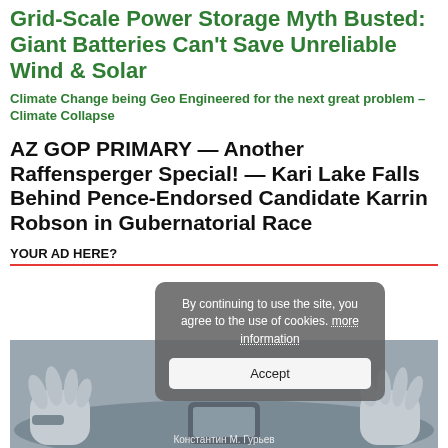Grid-Scale Power Storage Myth Busted: Giant Batteries Can't Save Unreliable Wind & Solar
Climate Change being Geo Engineered for the next great problem – Climate Collapse
AZ GOP PRIMARY — Another Raffensperger Special! — Kari Lake Falls Behind Pence-Endorsed Candidate Karrin Robson in Gubernatorial Race
YOUR AD HERE?
[Figure (illustration): Illustration of hands at a table, gray color palette. Caption reads: Константин М. Гурьев]
By continuing to use the site, you agree to the use of cookies. more information
Accept